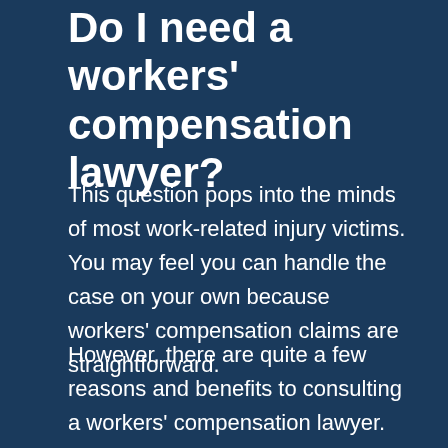Do I need a workers' compensation lawyer?
This question pops into the minds of most work-related injury victims. You may feel you can handle the case on your own because workers' compensation claims are straightforward.
However, there are quite a few reasons and benefits to consulting a workers' compensation lawyer.